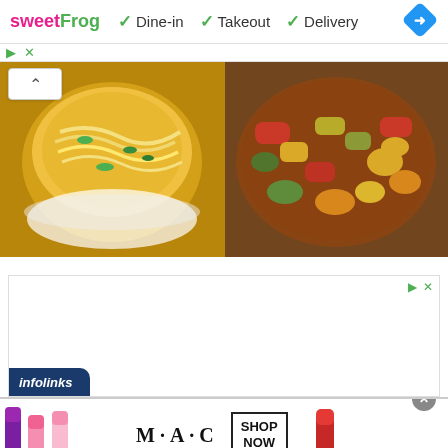[Figure (screenshot): SweetFrog logo with Dine-in, Takeout, Delivery service options and navigation icon]
[Figure (photo): Two food photos side by side: left shows noodle soup in a bowl, right shows stir-fried vegetables with sauce]
[Figure (screenshot): Advertisement box with infolinks bar at bottom]
[Figure (photo): MAC cosmetics advertisement banner showing lipsticks in purple, pink and red with MAC logo and SHOP NOW button]